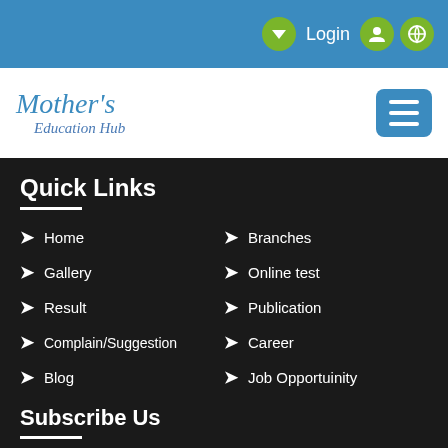Login
Mother's Education Hub
Quick Links
Home
Branches
Gallery
Online test
Result
Publication
Complain/Suggestion
Career
Blog
Job Opportuinity
Subscribe Us
Your Name